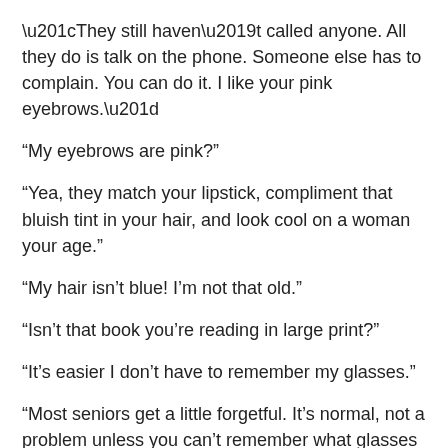“They still haven’t called anyone.  All they do is talk on the phone.  Someone else has to complain.  You can do it.  I like your pink eyebrows.”
“My eyebrows are pink?”
“Yea, they match your lipstick, compliment that bluish tint in your hair, and look cool on a woman your age.”
“My hair isn’t blue! I’m not that old.”
“Isn’t that book you’re reading in large print?”
“It’s easier I don’t have to remember my glasses.”
“Most seniors get a little forgetful.  It’s normal, not a problem unless you can’t remember what glasses are.  You know glasses magnify things, right?”